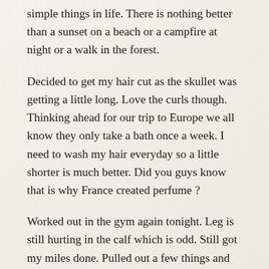simple things in life. There is nothing better than a sunset on a beach or a campfire at night or a walk in the forest.
Decided to get my hair cut as the skullet was getting a little long. Love the curls though. Thinking ahead for our trip to Europe we all know they only take a bath once a week. I need to wash my hair everyday so a little shorter is much better. Did you guys know that is why France created perfume ?
Worked out in the gym again tonight. Leg is still hurting in the calf which is odd. Still got my miles done. Pulled out a few things and will finish my light packing for Mesa on Thursday.